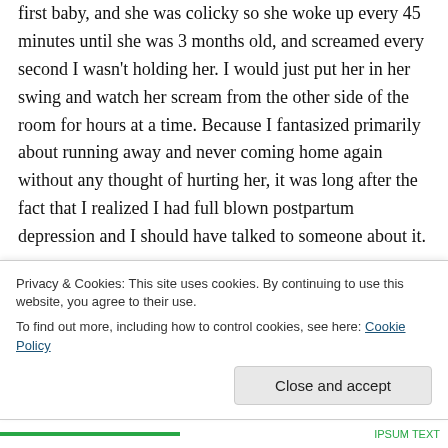first baby, and she was colicky so she woke up every 45 minutes until she was 3 months old, and screamed every second I wasn't holding her. I would just put her in her swing and watch her scream from the other side of the room for hours at a time. Because I fantasized primarily about running away and never coming home again without any thought of hurting her, it was long after the fact that I realized I had full blown postpartum depression and I should have talked to someone about it.
Privacy & Cookies: This site uses cookies. By continuing to use this website, you agree to their use.
To find out more, including how to control cookies, see here: Cookie Policy